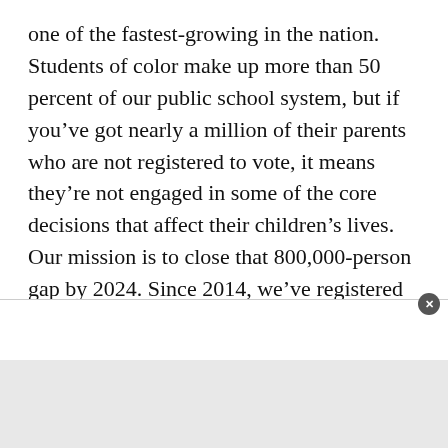one of the fastest-growing in the nation. Students of color make up more than 50 percent of our public school system, but if you've got nearly a million of their parents who are not registered to vote, it means they're not engaged in some of the core decisions that affect their children's lives. Our mission is to close that 800,000-person gap by 2024. Since 2014, we've registered more than 200,000 people of color—people who own their franchise and are paying attention to city council, county commission, and school board races.